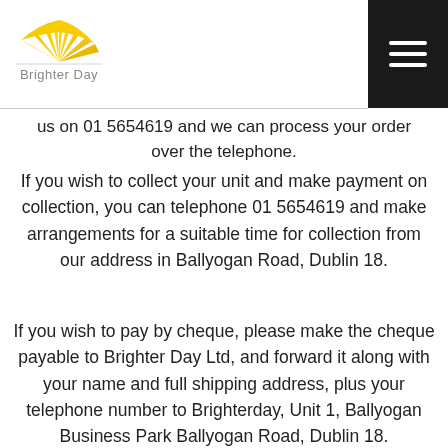Brighter Day
us on 01 5654619 and we can process your order over the telephone.
If you wish to collect your unit and make payment on collection, you can telephone 01 5654619 and make arrangements for a suitable time for collection from our address in Ballyogan Road, Dublin 18.
If you wish to pay by cheque, please make the cheque payable to Brighter Day Ltd, and forward it along with your name and full shipping address, plus your telephone number to Brighterday, Unit 1, Ballyogan Business Park Ballyogan Road, Dublin 18.